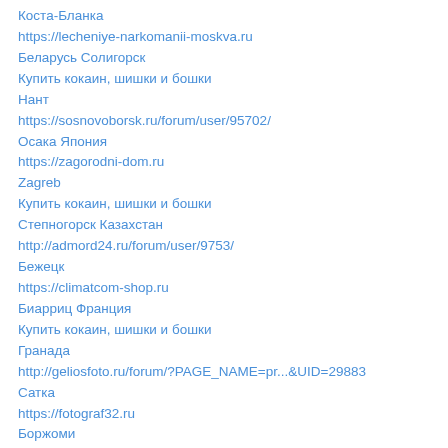Коста-Бланка
https://lecheniye-narkomanii-moskva.ru
Беларусь Солигорск
Купить кокаин, шишки и бошки
Нант
https://sosnovoborsk.ru/forum/user/95702/
Осака Япония
https://zagorodni-dom.ru
Zagreb
Купить кокаин, шишки и бошки
Степногорск Казахстан
http://admord24.ru/forum/user/9753/
Бежецк
https://climatcom-shop.ru
Биарриц Франция
Купить кокаин, шишки и бошки
Гранада
http://geliosfoto.ru/forum/?PAGE_NAME=pr...&UID=29883
Сатка
https://fotograf32.ru
Боржоми
Купить кокаин, шишки и бошки
Киров